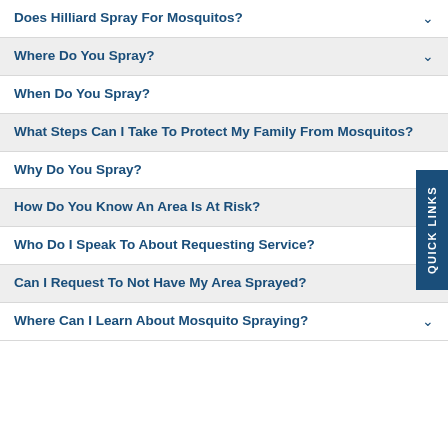Does Hilliard Spray For Mosquitos?
Where Do You Spray?
When Do You Spray?
What Steps Can I Take To Protect My Family From Mosquitos?
Why Do You Spray?
How Do You Know An Area Is At Risk?
Who Do I Speak To About Requesting Service?
Can I Request To Not Have My Area Sprayed?
Where Can I Learn About Mosquito Spraying?